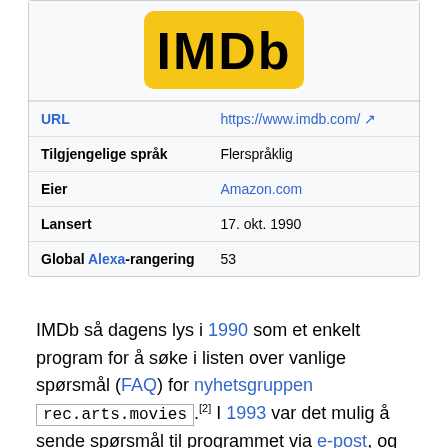[Figure (logo): IMDB logo - black text on yellow/gold rounded rectangle background]
| URL | https://www.imdb.com/ ↗ |
| Tilgjengelige språk | Flerspråklig |
| Eier | Amazon.com |
| Lansert | 17. okt. 1990 |
| Global Alexa-rangering | 53 |
IMDb så dagens lys i 1990 som et enkelt program for å søke i listen over vanlige spørsmål (FAQ) for nyhetsgruppen rec.arts.movies.[2] I 1993 var det mulig å sende spørsmål til programmet via e-post, og året